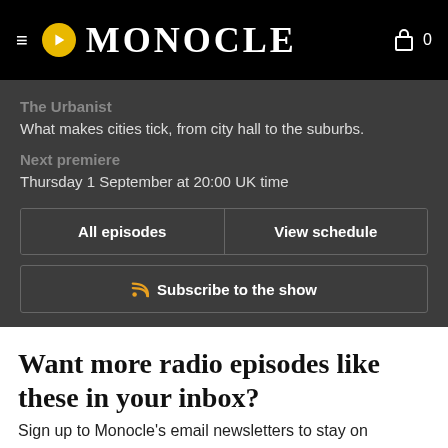≡ 🔊 MONOCLE 🛍 0
The Urbanist
What makes cities tick, from city hall to the suburbs.
Next premiere
Thursday 1 September at 20:00 UK time
All episodes | View schedule
Subscribe to the show
Want more radio episodes like these in your inbox?
Sign up to Monocle's email newsletters to stay on
Loading...